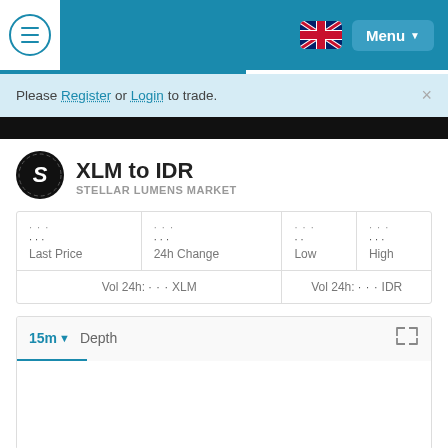Menu
Please Register or Login to trade.
XLM to IDR
STELLAR LUMENS MARKET
| Last Price | 24h Change | Low | High |
| --- | --- | --- | --- |
| (loading) | (loading) | (loading) | (loading) |
| Vol 24h: (loading) XLM |  | Vol 24h: (loading) IDR |  |
15m ▼  Depth